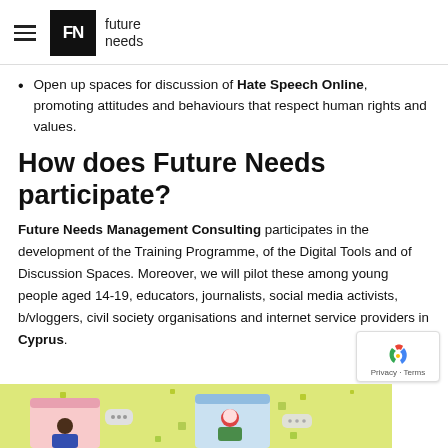future needs
Open up spaces for discussion of Hate Speech Online, promoting attitudes and behaviours that respect human rights and values.
How does Future Needs participate?
Future Needs Management Consulting participates in the development of the Training Programme, of the Digital Tools and of Discussion Spaces. Moreover, we will pilot these among young people aged 14-19, educators, journalists, social media activists, b/vloggers, civil society organisations and internet service providers in Cyprus.
[Figure (illustration): Illustration showing young people using digital devices with chat bubbles, on a yellow-green background, partially visible at the bottom of the page.]